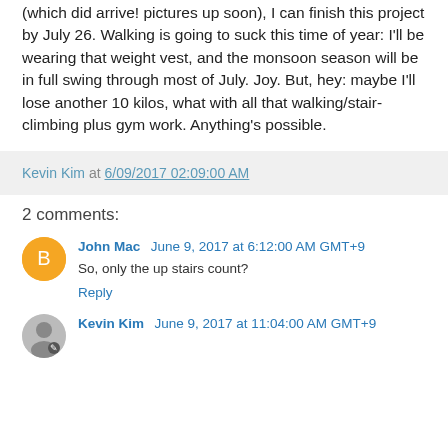(which did arrive! pictures up soon), I can finish this project by July 26. Walking is going to suck this time of year: I'll be wearing that weight vest, and the monsoon season will be in full swing through most of July. Joy. But, hey: maybe I'll lose another 10 kilos, what with all that walking/stair-climbing plus gym work. Anything's possible.
Kevin Kim at 6/09/2017 02:09:00 AM
2 comments:
John Mac  June 9, 2017 at 6:12:00 AM GMT+9
So, only the up stairs count?
Reply
Kevin Kim  June 9, 2017 at 11:04:00 AM GMT+9